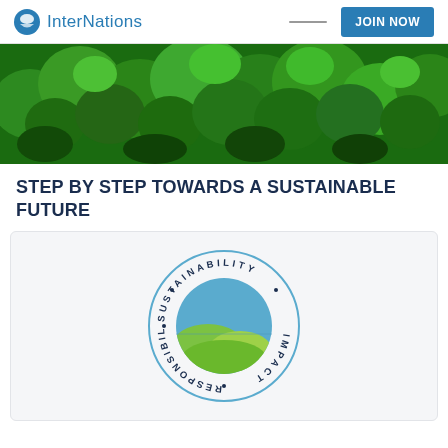InterNations | JOIN NOW
[Figure (photo): Aerial view of dense green tropical forest canopy]
STEP BY STEP TOWARDS A SUSTAINABLE FUTURE
[Figure (logo): Circular logo with text SUSTAINABILITY · RESPONSIBILITY · IMPACT surrounding a blue and green globe/leaf icon]